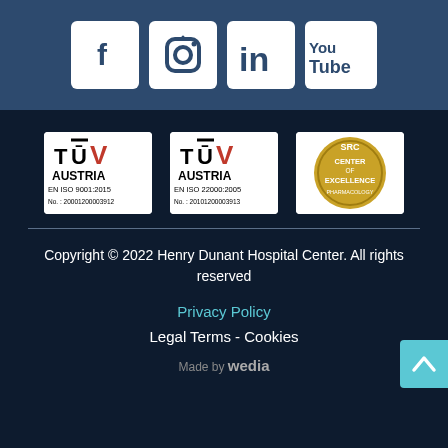[Figure (other): Social media icons row: Facebook, Instagram, LinkedIn, YouTube on dark blue background]
[Figure (other): TUV AUSTRIA EN ISO 9001:2015 No.: 20001200003912 certification logo]
[Figure (other): TUV AUSTRIA EN ISO 22000:2005 No.: 20101200003913 certification logo]
[Figure (other): SRC Center of Excellence (Pharmacology) gold circular badge]
Copyright © 2022 Henry Dunant Hospital Center. All rights reserved
Privacy Policy
Legal Terms - Cookies
Made by wedia